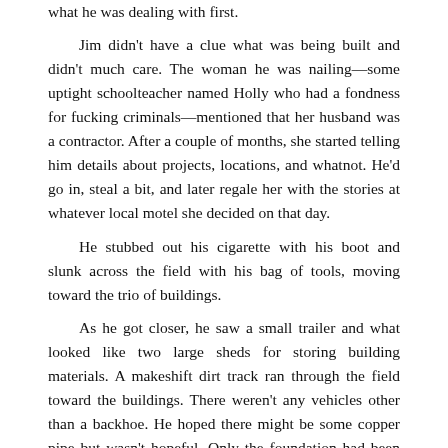what he was dealing with first.

Jim didn't have a clue what was being built and didn't much care. The woman he was nailing—some uptight schoolteacher named Holly who had a fondness for fucking criminals—mentioned that her husband was a contractor. After a couple of months, she started telling him details about projects, locations, and whatnot. He'd go in, steal a bit, and later regale her with the stories at whatever local motel she decided on that day.

He stubbed out his cigarette with his boot and slunk across the field with his bag of tools, moving toward the trio of buildings.

As he got closer, he saw a small trailer and what looked like two large sheds for storing building materials. A makeshift dirt track ran through the field toward the buildings. There weren't any vehicles other than a backhoe. He hoped there might be some copper pipe but wasn't hopeful. Only the foundation had been dug, so it was still early in the process.

Might be something, though. Power tools could